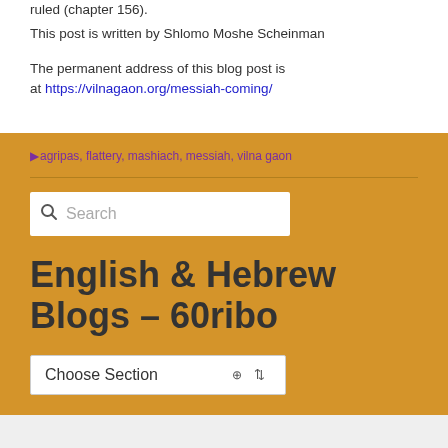ruled (chapter 156).
This post is written by Shlomo Moshe Scheinman
The permanent address of this blog post is at https://vilnagaon.org/messiah-coming/
agripas, flattery, mashiach, messiah, vilna gaon
[Figure (other): Search input box with magnifying glass icon and placeholder text 'Search']
English & Hebrew Blogs – 60ribo
[Figure (other): Dropdown select element labeled 'Choose Section']